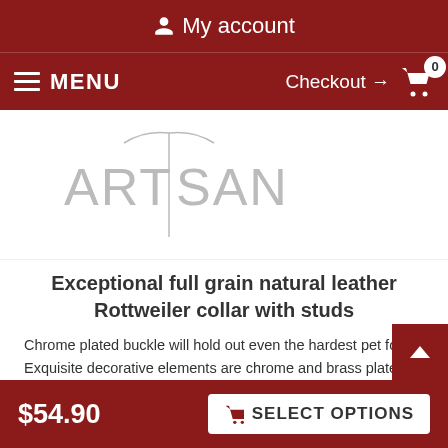My account
MENU  Checkout → 0
[Figure (logo): Artisan brand logo in grey text on white background]
Exceptional full grain natural leather Rottweiler collar with studs
Chrome plated buckle will hold out even the hardest pet force. Exquisite decorative elements are chrome and brass plated to have superior look. Accentuate your dog's style, order this FDT Artisan stunning natural leather gear!
Click on the pictures to see bigger image
$54.90  SELECT OPTIONS